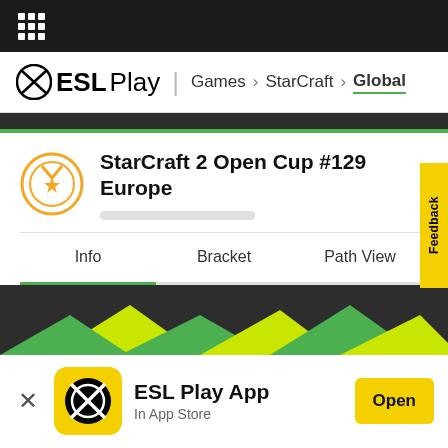ESL Play | Games > StarCraft > Global
StarCraft 2 Open Cup #129 Europe
Info   Bracket   Path View
Feedback
[Figure (screenshot): ESL Play App promotional banner with yellow background, ESL logo, and Open button]
ESL Play App
In App Store
Quick Rules